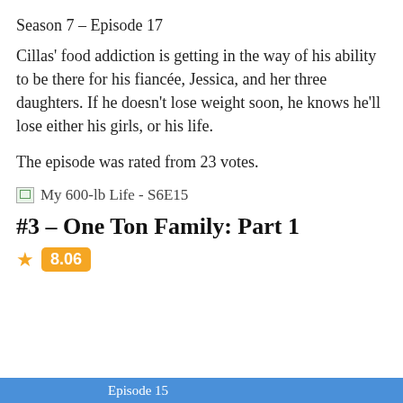Season 7 – Episode 17
Cillas' food addiction is getting in the way of his ability to be there for his fiancée, Jessica, and her three daughters. If he doesn't lose weight soon, he knows he'll lose either his girls, or his life.
The episode was rated from 23 votes.
My 600-lb Life - S6E15
#3 – One Ton Family: Part 1
8.06
Episode 15